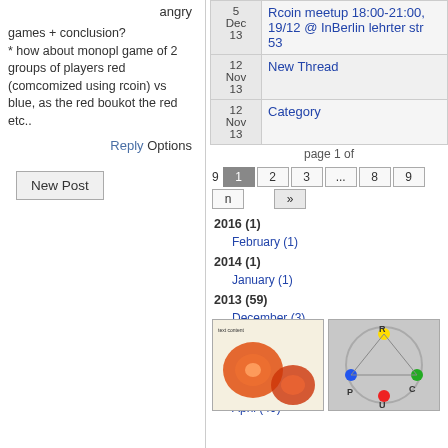angry
games + conclusion?
* how about monopl game of 2 groups of players red (comcomized using rcoin) vs blue, as the red boukot the red etc..
Reply Options
New Post
| Date | Link |
| --- | --- |
| 5 Dec 13 | Rcoin meetup 18:00-21:00, 19/12 @ InBerlin lehrter str 53 |
| 12 Nov 13 | New Thread |
| 12 Nov 13 | Category |
page 1 of 9  1  2  3  ...  8  9  n  »
2016 (1)
February (1)
2014 (1)
January (1)
2013 (59)
December (3)
November (2)
August (1)
July (3)
May (1)
April (49)
[Figure (photo): Two circular red/orange patterns on white background with text]
[Figure (photo): Diagram showing colored dots labeled P, U, C, R in a circular/peace arrangement on grey background]